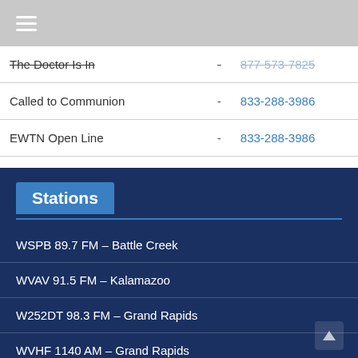| Show |  | Phone |
| --- | --- | --- |
| The Doctor Is In | - | 877-573-7825 |
| Called to Communion | - | 833-288-3986 |
| EWTN Open Line | - | 833-288-3986 |
| Kresta in the Afternoon | - | 877-573-7825 |
| Catholic Answers | - | 888-318-7884 |
Stations
WSPB 89.7 FM – Battle Creek
WVAV 91.5 FM – Kalamazoo
W252DT 98.3 FM – Grand Rapids
WVHF 1140 AM – Grand Rapids